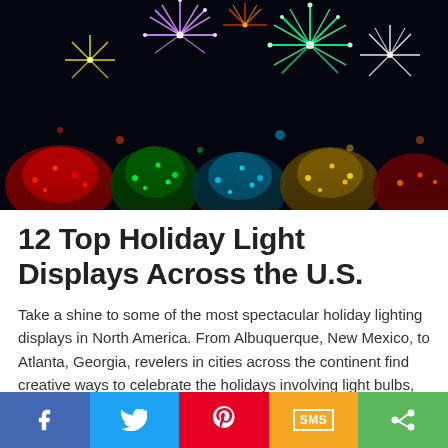[Figure (photo): Night sky photo of colorful holiday light displays and fireworks — bright bursts of green, purple, and white fireworks exploding against a black sky above brilliantly lit Christmas trees and holiday decorations in red, blue, teal, yellow and gold.]
12 Top Holiday Light Displays Across the U.S.
Take a shine to some of the most spectacular holiday lighting displays in North America. From Albuquerque, New Mexico, to Atlanta, Georgia, revelers in cities across the continent find creative ways to celebrate the holidays involving light bulbs, candles and high-tech arrays. Check out the following displays:
[Figure (infographic): Social sharing bar with five buttons: Facebook (blue), Twitter (light blue), Pinterest (red), SMS (orange/yellow), and Share (green), each with its respective icon in white.]